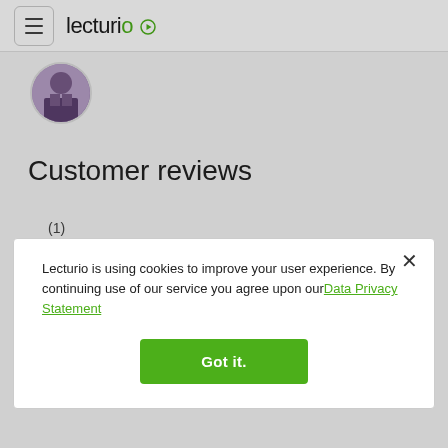Lecturio
[Figure (photo): Circular avatar photo of a person in a suit with purple/gray tones, partially cropped at top]
Customer reviews
(1)
Lecturio is using cookies to improve your user experience. By continuing use of our service you agree upon our Data Privacy Statement
Got it.